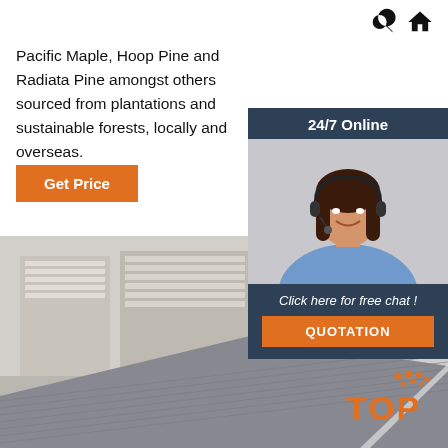Search and Home navigation icons
Pacific Maple, Hoop Pine and Radiata Pine amongst others sourced from plantations and sustainable forests, locally and overseas.
Get Price
[Figure (photo): Customer service representative woman wearing headset and headphones, smiling, with '24/7 Online' banner and 'Click here for free chat!' text and QUOTATION button on dark blue sidebar panel]
[Figure (photo): Warehouse stacked plywood or fibre cement sheet panels in background, large grey textured sheet panel in foreground]
[Figure (logo): TOP logo with orange dots above letters]